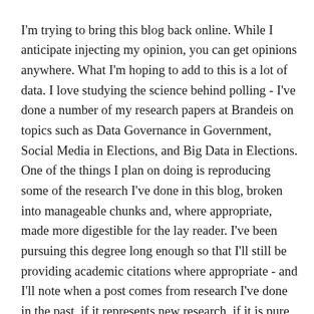I'm trying to bring this blog back online. While I anticipate injecting my opinion, you can get opinions anywhere. What I'm hoping to add to this is a lot of data. I love studying the science behind polling - I've done a number of my research papers at Brandeis on topics such as Data Governance in Government, Social Media in Elections, and Big Data in Elections. One of the things I plan on doing is reproducing some of the research I've done in this blog, broken into manageable chunks and, where appropriate, made more digestible for the lay reader. I've been pursuing this degree long enough so that I'll still be providing academic citations where appropriate - and I'll note when a post comes from research I've done in the past, if it represents new research, if it is pure opinion, etc.
Funny thing about the Bluehost thing. When I decided to bring my blog back to life I discovered it had gotten shut down due to violating terms of service - claiming my